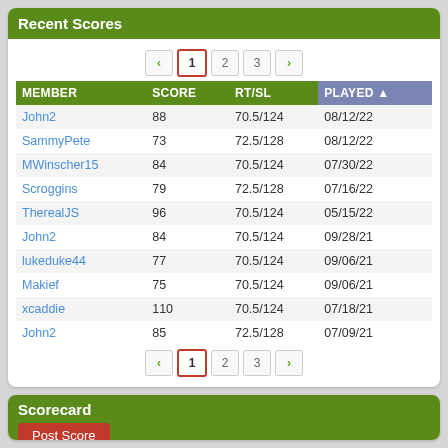Recent Scores
| MEMBER | SCORE | RT/SL | PLAYED ▲ |
| --- | --- | --- | --- |
| John2 | 88 | 70.5/124 | 08/12/22 |
| SammyPete | 73 | 72.5/128 | 08/12/22 |
| MWinscher15 | 84 | 70.5/124 | 07/30/22 |
| Scroggins | 79 | 72.5/128 | 07/16/22 |
| TherealJS | 96 | 70.5/124 | 05/15/22 |
| John2 | 84 | 70.5/124 | 09/28/21 |
| lukeduke44 | 77 | 70.5/124 | 09/06/21 |
| Makief | 75 | 70.5/124 | 09/06/21 |
| xcaddie | 110 | 70.5/124 | 07/18/21 |
| John2 | 85 | 72.5/128 | 07/09/21 |
Scorecard
Post Score
| Tee | Gender ▼ | Rating | Slope |
| --- | --- | --- | --- |
| Blue | M | 72.5 | 128 |